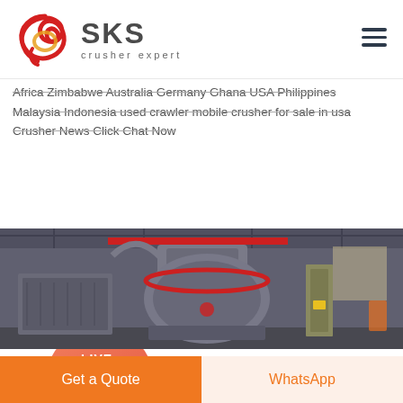[Figure (logo): SKS Crusher Expert logo with red swirl graphic and bold SKS text with 'crusher expert' tagline]
Africa Zimbabwe Australia Germany Ghana USA Philippines Malaysia Indonesia used crawler mobile crusher for sale in usa Crusher News Click Chat Now
LIVE CHAT
[Figure (photo): Industrial crusher machine inside a large factory/warehouse with grey metal equipment, red overhead crane, and industrial lighting]
Get a Quote
WhatsApp